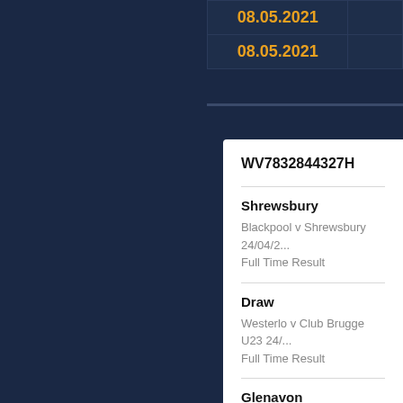| Date |  |
| --- | --- |
| 08.05.2021 |  |
| 08.05.2021 |  |
WV7832844327H
Shrewsbury
Blackpool v Shrewsbury 24/04/2...
Full Time Result
Draw
Westerlo v Club Brugge U23 24/...
Full Time Result
Glenavon
Glenavon v Linfield 24/04/2021
Full Time Result
Draw
Zrece v Dobrovce 24/04/2021